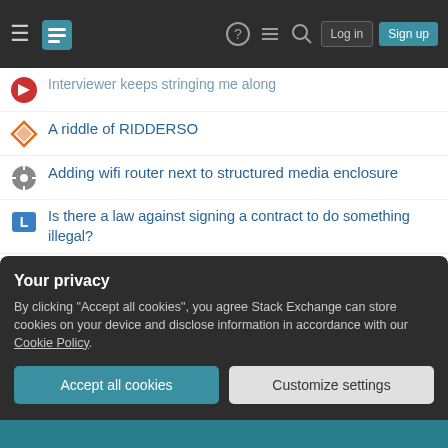Stack Exchange network header with logo, navigation icons, Log in and Sign up buttons
Interviewer keeps stringing me along
A riddle of RIDDERSO
Adding wifi router next to structured media enclosure
Is there a law against signing a contract to do something illegal?
Can "trunk" mean the stem of any plant, not just trees?
$PS4 in bash - how can I reproduce the "level of indirection" behavior mentioned in the GNU docs?
Is Dark Matter possible if there is dynamical friction?
Interviewer wanted to connect with me on LinkedIn the day after the interview, is this appropriate?
Your privacy
By clicking "Accept all cookies", you agree Stack Exchange can store cookies on your device and disclose information in accordance with our Cookie Policy.